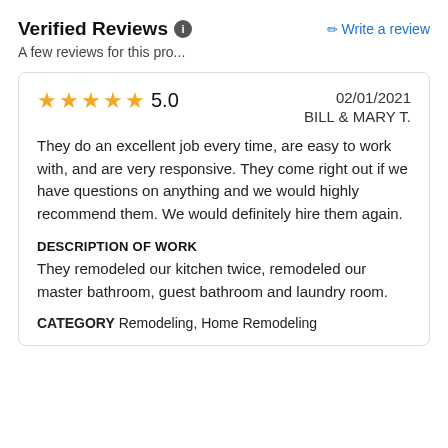Verified Reviews ℹ
✏ Write a review
A few reviews for this pro...
★★★★★ 5.0   02/01/2021  BILL & MARY T.
They do an excellent job every time, are easy to work with, and are very responsive. They come right out if we have questions on anything and we would highly recommend them. We would definitely hire them again.
DESCRIPTION OF WORK
They remodeled our kitchen twice, remodeled our master bathroom, guest bathroom and laundry room.
CATEGORY Remodeling, Home Remodeling